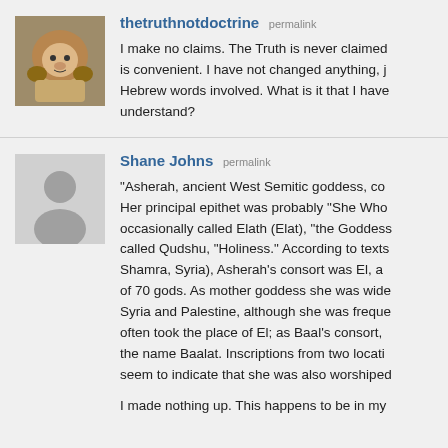[Figure (photo): Avatar image of a lion sitting]
thetruthnotdoctrine permalink
I make no claims. The Truth is never claimed is convenient. I have not changed anything, j Hebrew words involved. What is it that I have understand?
[Figure (photo): Generic gray silhouette avatar]
Shane Johns permalink
“Asherah, ancient West Semitic goddess, co Her principal epithet was probably “She Who occasionally called Elath (Elat), “the Goddess called Qudshu, “Holiness.” According to texts Shamra, Syria), Asherah’s consort was El, a of 70 gods. As mother goddess she was wide Syria and Palestine, although she was freque often took the place of El; as Baal’s consort, the name Baalat. Inscriptions from two locati seem to indicate that she was also worshiped
I made nothing up. This happens to be in my